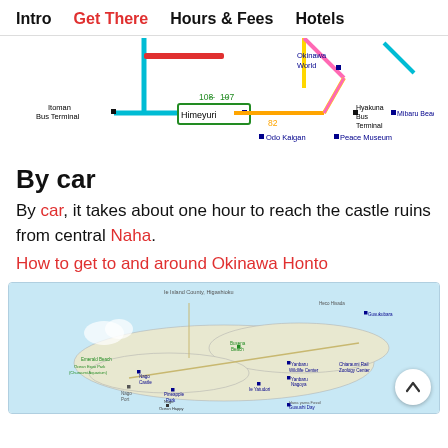Intro  Get There  Hours & Fees  Hotels
[Figure (map): Schematic bus route map showing routes 107, 108, and 82 around Okinawa southern area, with stops including Itoman Bus Terminal, Himeyuri, Odo Kaigan, Peace Museum, Okinawa World, Hyakuna Bus Terminal, and Mibaru Beach.]
By car
By car, it takes about one hour to reach the castle ruins from central Naha.
How to get to and around Okinawa Honto
[Figure (map): Map of Okinawa Honto (main island) showing various tourist destinations including Emerald Beach, Ocean Expo Park, Churaumi Aquarium, Nago Castle, Pineapple Park, Nago, Ocean Happy Park, Heico Historic Ruins, Yanbaru Wildlife Center, Yanbaru Nanyo, Chiaraumi Rail Zoology Center, Busena Beach, and other locations. Blue sea surrounds the island.]